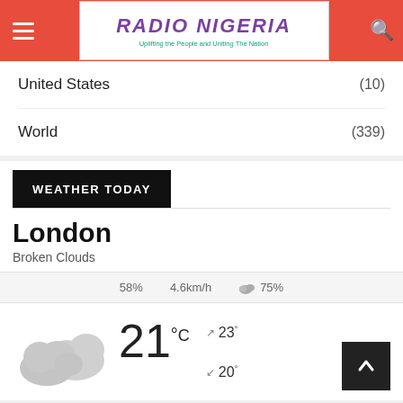Radio Nigeria – Uplifting the People and Uniting The Nation
United States (10)
World (339)
WEATHER TODAY
London
Broken Clouds
58% 4.6km/h ☁ 75%
[Figure (illustration): Broken clouds weather icon – two overlapping grey cloud shapes]
21°C  ▲ 23°  ▼ 20°